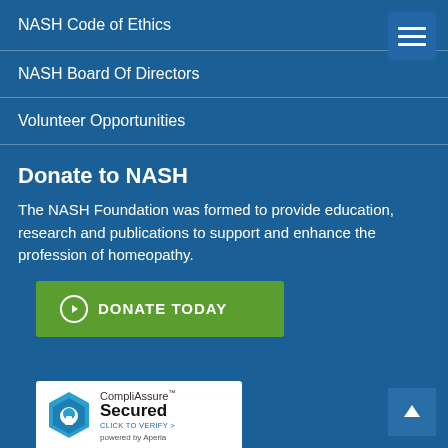NASH Code of Ethics
NASH Board Of Directors
Volunteer Opportunities
Donate to NASH
The NASH Foundation was formed to provide education, research and publications to support and enhance the profession of homeopathy.
[Figure (infographic): Green button with circle-arrow icon reading DONATE TODAY]
[Figure (logo): CompliAssure Secured badge - CLICK TO VERIFY - powered by Aperia, with blue hexagon lock icon]
Donate to the Scholarship Funds